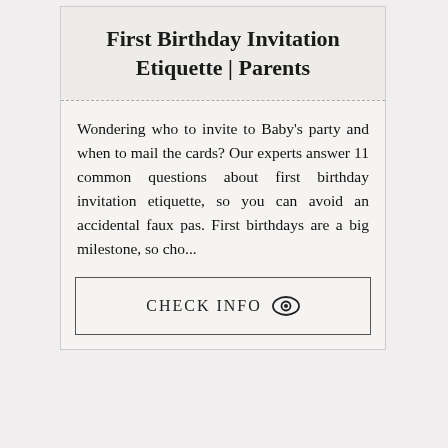First Birthday Invitation Etiquette | Parents
Wondering who to invite to Baby's party and when to mail the cards? Our experts answer 11 common questions about first birthday invitation etiquette, so you can avoid an accidental faux pas. First birthdays are a big milestone, so cho...
CHECK INFO